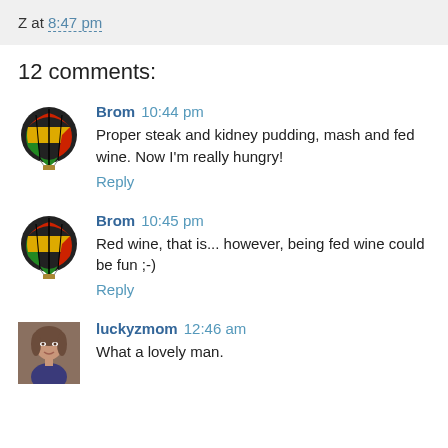Z at 8:47 pm
12 comments:
Brom 10:44 pm
Proper steak and kidney pudding, mash and fed wine. Now I'm really hungry!
Reply
Brom 10:45 pm
Red wine, that is... however, being fed wine could be fun ;-)
Reply
luckyzmom 12:46 am
What a lovely man.